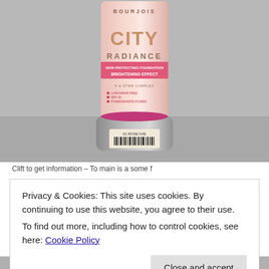[Figure (photo): Bourjois City Radiance skin protecting foundation with brightening effect tube, showing barcode at bottom, photographed on a grey surface.]
Clift to get information – To main is a some f
Privacy & Cookies: This site uses cookies. By continuing to use this website, you agree to their use.
To find out more, including how to control cookies, see here: Cookie Policy
Close and accept
[Figure (photo): Partial view of another cosmetic product at the bottom of the page.]